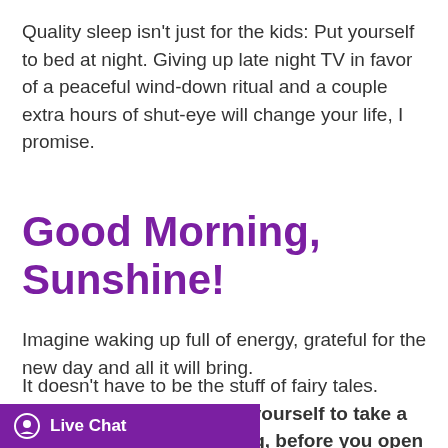Quality sleep isn't just for the kids: Put yourself to bed at night. Giving up late night TV in favor of a peaceful wind-down ritual and a couple extra hours of shut-eye will change your life, I promise.
Good Morning, Sunshine!
Imagine waking up full of energy, grateful for the new day and all it will bring.
It doesn't have to be the stuff of fairy tales.  Teach your children and yourself to take a few moments upon waking, before you open your eyes, to take several deep nd express gratitude for all that
Live Chat